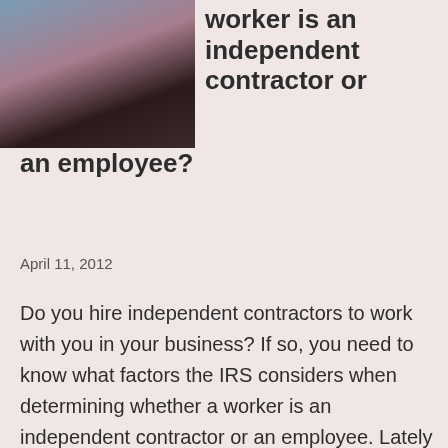[Figure (photo): Photo of a woman with dark curly hair, partial face visible, cropped at top-left of page]
worker is an independent contractor or an employee?
April 11, 2012
Do you hire independent contractors to work with you in your business? If so, you need to know what factors the IRS considers when determining whether a worker is an independent contractor or an employee. Lately the IRS has been cracking down on businesses that wrongly classify